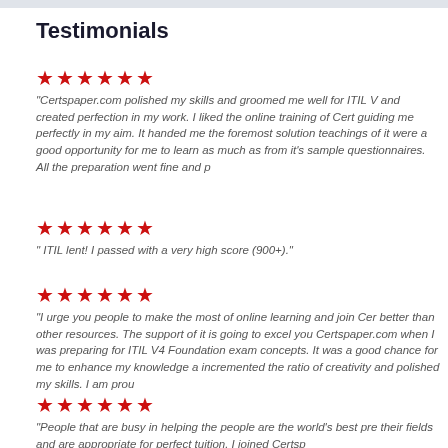Testimonials
★★★★★★
"Certspaper.com polished my skills and groomed me well for ITIL V and created perfection in my work. I liked the online training of Cer guiding me perfectly in my aim. It handed me the foremost solution teachings of it were a good opportunity for me to learn as much as from it's sample questionnaires. All the preparation went fine and p
★★★★★★
" ITIL lent! I passed with a very high score (900+)."
★★★★★★
"I urge you people to make the most of online learning and join Cer better than other resources. The support of it is going to excel you Certspaper.com when I was preparing for ITIL V4 Foundation exam concepts. It was a good chance for me to enhance my knowledge a incremented the ratio of creativity and polished my skills. I am prou
★★★★★★
"People that are busy in helping the people are the world's best pre their fields and are appropriate for perfect tuition. I joined Certsp